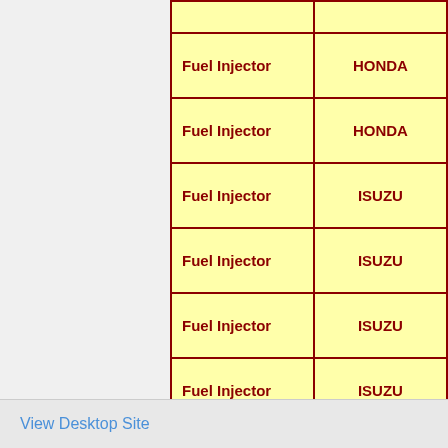| Category | Brand |
| --- | --- |
| Fuel Injector | HONDA |
| Fuel Injector | HONDA |
| Fuel Injector | ISUZU |
| Fuel Injector | ISUZU |
| Fuel Injector | ISUZU |
| Fuel Injector | ISUZU |
| Fuel Injector | ISUZU |
| Fuel Injector | ISUZU |
| Fuel Injector | ISUZU |
View Desktop Site